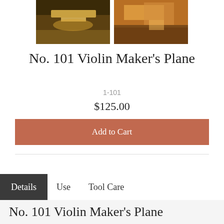[Figure (photo): Two photos side by side: left shows a woodworking plane tool shaving wood, right shows hands using a small plane on wood]
No. 101 Violin Maker's Plane
1-101
$125.00
Add to Cart
Details   Use   Tool Care
No. 101 Violin Maker's Plane